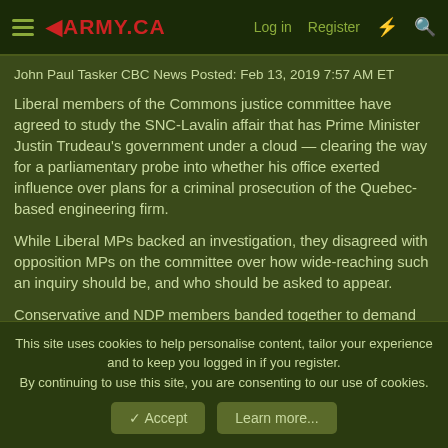◀ARMY.CA  Log in  Register
John Paul Tasker CBC News Posted: Feb 13, 2019 7:57 AM ET
Liberal members of the Commons justice committee have agreed to study the SNC-Lavalin affair that has Prime Minister Justin Trudeau's government under a cloud — clearing the way for a parliamentary probe into whether his office exerted influence over plans for a criminal prosecution of the Quebec-based engineering firm.
While Liberal MPs backed an investigation, they disagreed with opposition MPs on the committee over how wide-reaching such an inquiry should be, and who should be asked to appear.
Conservative and NDP members banded together to demand
This site uses cookies to help personalise content, tailor your experience and to keep you logged in if you register.
By continuing to use this site, you are consenting to our use of cookies.
✓ Accept    Learn more...